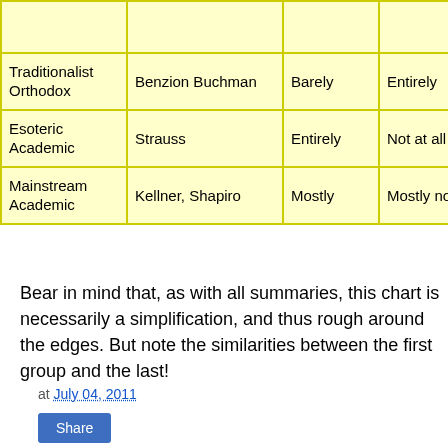|  |  |  |  |  |
| --- | --- | --- | --- | --- |
|  |  |  |  | we
etc |
| Traditionalist Orthodox | Benzion Buchman | Barely | Entirely | Yes |
| Esoteric Academic | Strauss | Entirely | Not at all | It's |
| Mainstream Academic | Kellner, Shapiro | Mostly | Mostly not | Par |
Bear in mind that, as with all summaries, this chart is necessarily a simplification, and thus rough around the edges. But note the similarities between the first group and the last!
at July 04, 2011